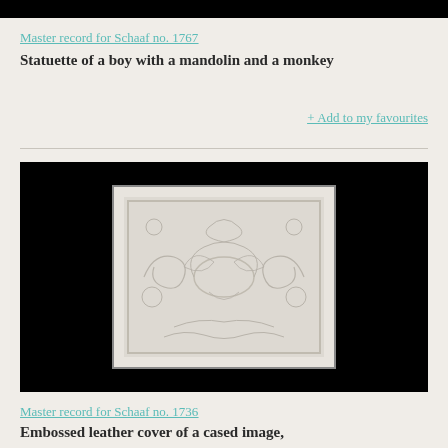[Figure (photo): Top partial black image strip cropped at top of page]
Master record for Schaaf no. 1767
Statuette of a boy with a mandolin and a monkey
+ Add to my favourites
[Figure (photo): Black background with a white/cream embossed leather panel showing decorative scrollwork and floral patterns]
Master record for Schaaf no. 1736
Embossed leather cover of a cased image,